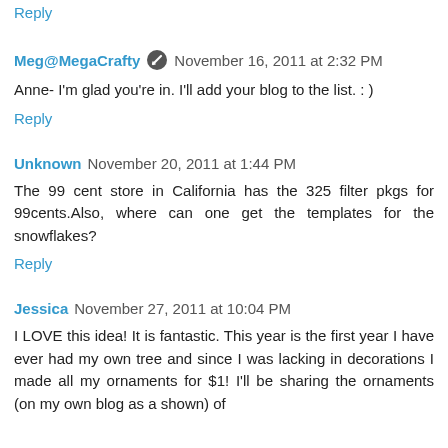Reply
Meg@MegaCrafty  November 16, 2011 at 2:32 PM
Anne- I'm glad you're in. I'll add your blog to the list. : )
Reply
Unknown  November 20, 2011 at 1:44 PM
The 99 cent store in California has the 325 filter pkgs for 99cents.Also, where can one get the templates for the snowflakes?
Reply
Jessica  November 27, 2011 at 10:04 PM
I LOVE this idea! It is fantastic. This year is the first year I have ever had my own tree and since I was lacking in decorations I made all my ornaments for $1! I'll be sharing the ornaments (on my own blog as a shown) of